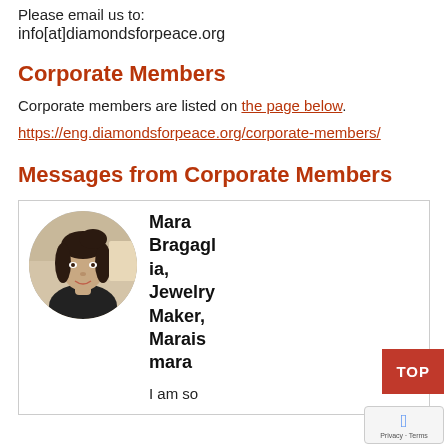Please email us to:
info[at]diamondsforpeace.org
Corporate Members
Corporate members are listed on the page below.
https://eng.diamondsforpeace.org/corporate-members/
Messages from Corporate Members
[Figure (photo): Circular portrait photo of a woman with dark hair in a workshop setting, alongside bold text reading: Mara Bragaglia, Jewelry Maker, Maraismara. Below: I am so]
I am so